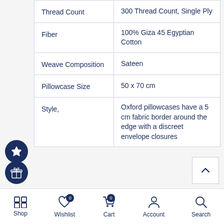| Attribute | Value |
| --- | --- |
| Thread Count | 300 Thread Count, Single Ply |
| Fiber | 100% Giza 45 Egyptian Cotton |
| Weave Composition | Sateen |
| Pillowcase Size | 50 x 70 cm |
| Style, | Oxford pillowcases have a 5 cm fabric border around the edge with a discreet envelope closures |
[Figure (other): Star/favorites icon badge (dark navy circle with white star)]
[Figure (other): Back-to-top chevron button]
[Figure (other): Gift/promotions icon badge (dark navy circle with gift box icon)]
Shop  Wishlist  Cart  Account  Search